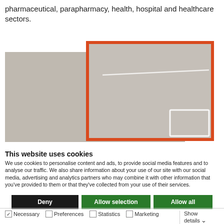pharmaceutical, parapharmacy, health, hospital and healthcare sectors.
[Figure (photo): Product photo showing what appears to be a medical or pharmaceutical device/packaging, with a gray surface and white angular element, overlaid by an orange/red framed image border.]
This website uses cookies
We use cookies to personalise content and ads, to provide social media features and to analyse our traffic. We also share information about your use of our site with our social media, advertising and analytics partners who may combine it with other information that you've provided to them or that they've collected from your use of their services.
Deny | Allow selection | Allow all
Necessary | Preferences | Statistics | Marketing | Show details